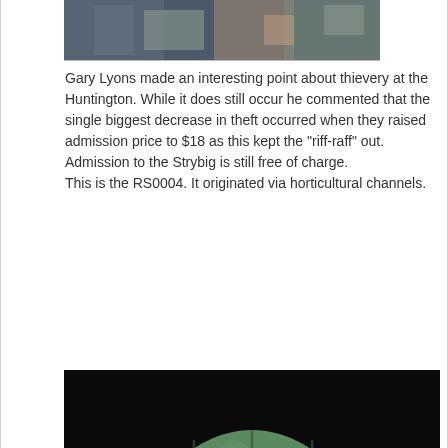[Figure (photo): Partial view of a cactus or succulent plant, cropped at the top of the page]
Gary Lyons made an interesting point about thievery at the Huntington. While it does still occur he commented that the single biggest decrease in theft occurred when they raised admission price to $18 as this kept the "riff-raff" out.
Admission to the Strybig is still free of charge.
This is the RS0004. It originated via horticultural channels.
[Figure (photo): Close-up photograph of a green cactus (RS0004) with brown spines, showing ribbed body and areoles with multiple radiating spines]
[Figure (photo): Second close-up photograph of the same RS0004 cactus specimen showing top portion with spines against dark background]